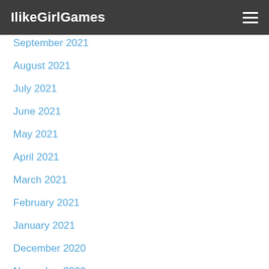IlikeGirlGames
September 2021
August 2021
July 2021
June 2021
May 2021
April 2021
March 2021
February 2021
January 2021
December 2020
November 2020
October 2020
September 2020
August 2020